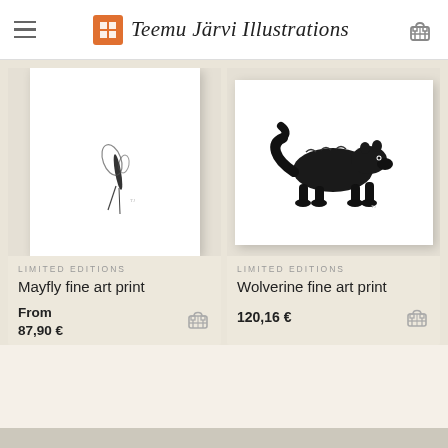Teemu Järvi Illustrations
[Figure (photo): Framed art print of a mayfly illustration on white background]
LIMITED EDITIONS
Mayfly fine art print
From 87,90 €
[Figure (photo): Framed art print of a wolverine illustration, black ink style, on white background]
LIMITED EDITIONS
Wolverine fine art print
120,16 €